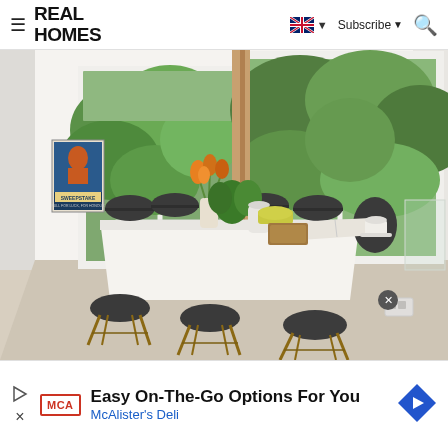REAL HOMES
[Figure (photo): Interior photo of a modern dining room with a white rectangular table surrounded by grey Eames-style chairs with wooden legs. Large floor-to-ceiling windows show a garden with green trees. An orange flower arrangement sits on the table. A vintage Sweepstake poster hangs on the left wall.]
Easy On-The-Go Options For You
McAlister's Deli